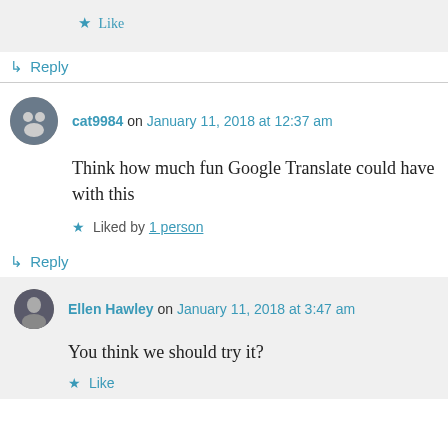★ Like
↳ Reply
cat9984 on January 11, 2018 at 12:37 am
Think how much fun Google Translate could have with this
★ Liked by 1 person
↳ Reply
Ellen Hawley on January 11, 2018 at 3:47 am
You think we should try it?
★ Like